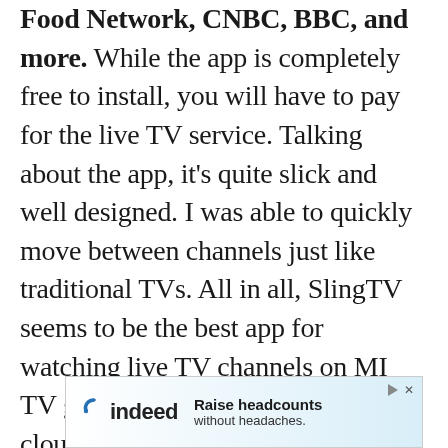Food Network, CNBC, BBC, and more. While the app is completely free to install, you will have to pay for the live TV service. Talking about the app, it's quite slick and well designed. I was able to quickly move between channels just like traditional TVs. All in all, SlingTV seems to be the best app for watching live TV channels on MI TV given that it also comes with a cloud-based DVR (Digital Video Recording) support.
[Figure (other): Indeed advertisement banner: 'Raise headcounts without headaches.' with Indeed logo on the left and play/close controls top right.]